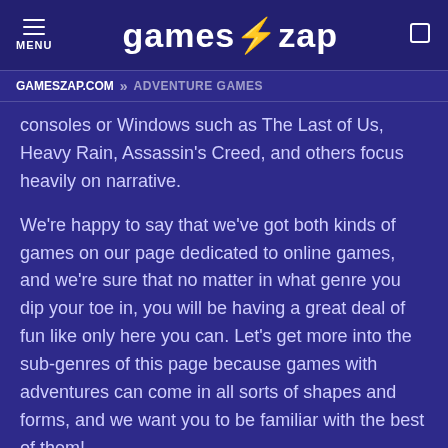MENU | games⚡zap
GAMESZAP.COM » ADVENTURE GAMES
consoles or Windows such as The Last of Us, Heavy Rain, Assassin's Creed, and others focus heavily on narrative.
We're happy to say that we've got both kinds of games on our page dedicated to online games, and we're sure that no matter in what genre you dip your toe in, you will be having a great deal of fun like only here you can. Let's get more into the sub-genres of this page because games with adventures can come in all sorts of shapes and forms, and we want you to be familiar with the best of them!
Platform-Adventure Games